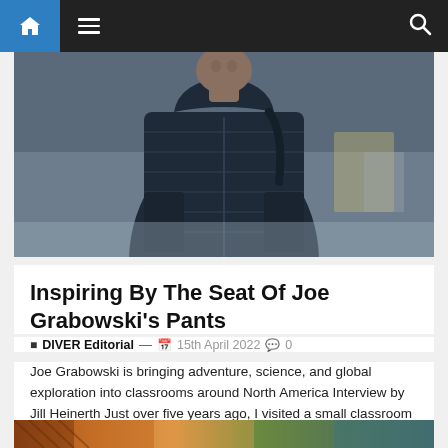Navigation bar with home icon, menu icon, and search icon
[Figure (photo): Person wearing a dark navy blue puffer/quilted jacket outdoors, photographed from waist up, urban street background with blurred cars and buildings]
Inspiring By The Seat Of Joe Grabowski’s Pants
DIVER Editorial — 15th April 2022  0
Joe Grabowski is bringing adventure, science, and global exploration into classrooms around North America Interview by Jill Heinerth Just over five years ago, I visited a small classroom in ...
[Figure (photo): Partial bottom strip showing colorful image, cropped at page bottom]